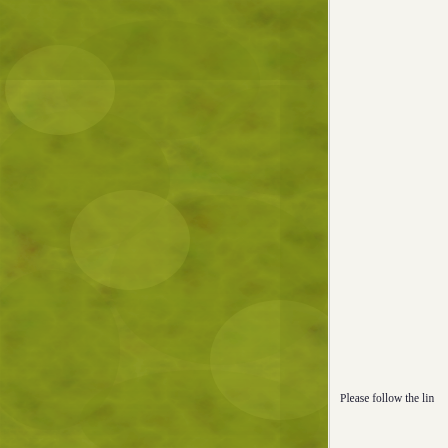[Figure (illustration): Olive/yellow-green textured background panel occupying the left approximately two-thirds of the page, with a mottled, distressed fabric or paint-like surface texture in varying shades of green.]
Please follow the lin